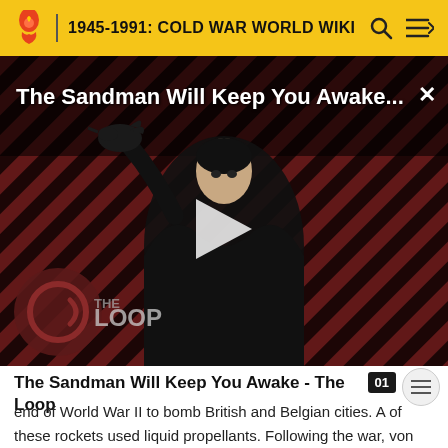1945-1991: COLD WAR WORLD WIKI
[Figure (screenshot): Video thumbnail showing a man dressed in black with a crow on his hand, set against a dark red and black diagonal stripe background. Title reads 'The Sandman Will Keep You Awake...' with a play button in the center and 'THE LOOP' logo at the bottom. A close (X) button is in the top right corner.]
The Sandman Will Keep You Awake - The Loop
end of World War II to bomb British and Belgian cities. A of these rockets used liquid propellants. Following the war, von Braun and other leading German scientists were relocated to the United States to work directly for the